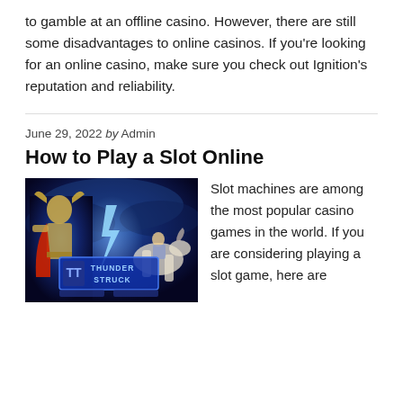to gamble at an offline casino. However, there are still some disadvantages to online casinos. If you're looking for an online casino, make sure you check out Ignition's reputation and reliability.
June 29, 2022 by Admin
How to Play a Slot Online
[Figure (photo): Promotional image for Thunderstruck slot game showing a Norse warrior character and a woman on a white horse against a dramatic dark blue stormy sky background, with the text 'THUNDER STRUCK' displayed prominently.]
Slot machines are among the most popular casino games in the world. If you are considering playing a slot game, here are